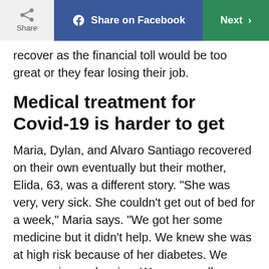Share | Share on Facebook | Next
recover as the financial toll would be too great or they fear losing their job.
Medical treatment for Covid-19 is harder to get
Maria, Dylan, and Alvaro Santiago recovered on their own eventually but their mother, Elida, 63, was a different story. “She was very, very sick. She couldn’t get out of bed for a week,” Maria says. “We got her some medicine but it didn’t help. We knew she was at high risk because of her diabetes. We were crying and crying. We were really scared she was going to die.” The doctor said to keep